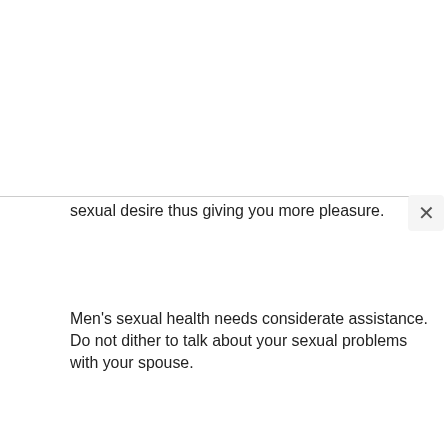sexual desire thus giving you more pleasure.
Men's sexual health needs considerate assistance. Do not dither to talk about your sexual problems with your spouse.